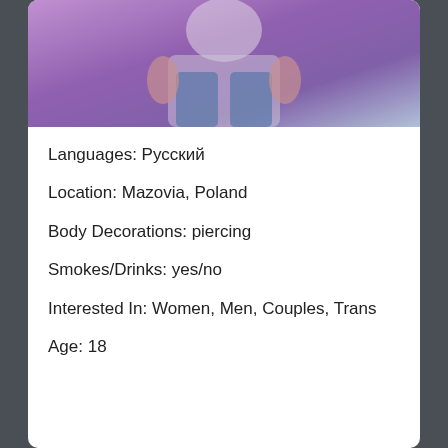[Figure (photo): Partial photo of a person sitting, wearing jeans and a light-colored top, with a purple/pink background]
Languages: Русский
Location: Mazovia, Poland
Body Decorations: piercing
Smokes/Drinks: yes/no
Interested In: Women, Men, Couples, Trans
Age: 18
Body Type: Skinny